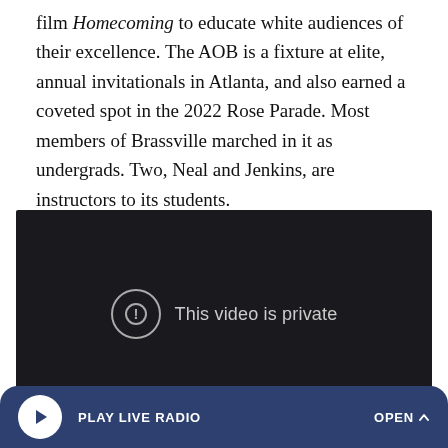film Homecoming to educate white audiences of their excellence. The AOB is a fixture at elite, annual invitationals in Atlanta, and also earned a coveted spot in the 2022 Rose Parade. Most members of Brassville marched in it as undergrads. Two, Neal and Jenkins, are instructors to its students.
[Figure (screenshot): A video player showing a dark background with the message 'This video is private' and an exclamation mark icon in a circle.]
[Figure (screenshot): A radio player bar at the bottom with a white play button, 'PLAY LIVE RADIO' label, and 'OPEN ^' on the right, on a dark blue rounded background.]